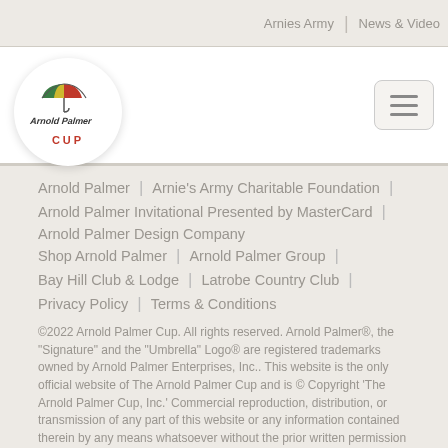Arnies Army | News & Video
[Figure (logo): Arnold Palmer Cup logo — circular white badge with stylized signature and colored umbrella graphic above the word CUP in red]
Arnold Palmer | Arnie's Army Charitable Foundation |
Arnold Palmer Invitational Presented by MasterCard |
Arnold Palmer Design Company
Shop Arnold Palmer | Arnold Palmer Group |
Bay Hill Club & Lodge | Latrobe Country Club |
Privacy Policy | Terms & Conditions
©2022 Arnold Palmer Cup. All rights reserved. Arnold Palmer®, the "Signature" and the "Umbrella" Logo® are registered trademarks owned by Arnold Palmer Enterprises, Inc.. This website is the only official website of The Arnold Palmer Cup and is © Copyright 'The Arnold Palmer Cup, Inc.' Commercial reproduction, distribution, or transmission of any part of this website or any information contained therein by any means whatsoever without the prior written permission of 'The Arnold Palmer Cup, Inc.' is not permitted. A COPY OF THE OFFICIAL REGISTRATION AND FINANCIAL INFORMATION ARE